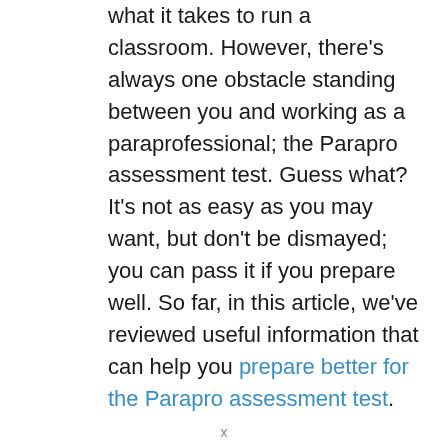what it takes to run a classroom. However, there's always one obstacle standing between you and working as a paraprofessional; the Parapro assessment test. Guess what? It's not as easy as you may want, but don't be dismayed; you can pass it if you prepare well. So far, in this article, we've reviewed useful information that can help you prepare better for the Parapro assessment test.

If you found this post helpful, you're definitely going to like our other financial and